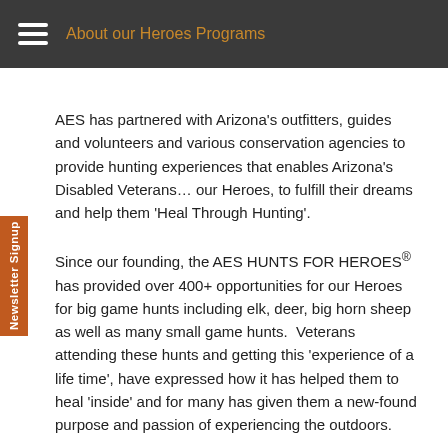About our Heroes Programs
AES has partnered with Arizona's outfitters, guides and volunteers and various conservation agencies to provide hunting experiences that enables Arizona's Disabled Veterans… our Heroes, to fulfill their dreams and help them 'Heal Through Hunting'.
Since our founding, the AES HUNTS FOR HEROES® has provided over 400+ opportunities for our Heroes for big game hunts including elk, deer, big horn sheep as well as many small game hunts. Veterans attending these hunts and getting this 'experience of a life time', have expressed how it has helped them to heal 'inside' and for many has given them a new-found purpose and passion of experiencing the outdoors.
HEROES RISING